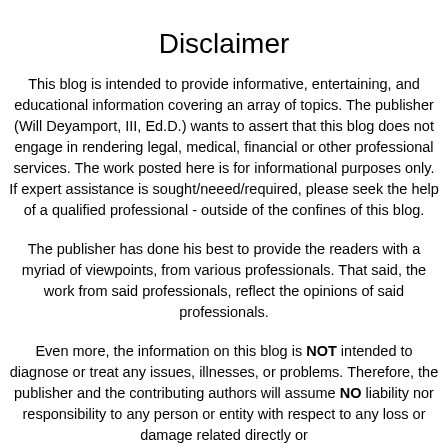Disclaimer
This blog is intended to provide informative, entertaining, and educational information covering an array of topics. The publisher (Will Deyamport, III, Ed.D.) wants to assert that this blog does not engage in rendering legal, medical, financial or other professional services. The work posted here is for informational purposes only. If expert assistance is sought/neeed/required, please seek the help of a qualified professional - outside of the confines of this blog.
The publisher has done his best to provide the readers with a myriad of viewpoints, from various professionals. That said, the work from said professionals, reflect the opinions of said professionals.
Even more, the information on this blog is NOT intended to diagnose or treat any issues, illnesses, or problems. Therefore, the publisher and the contributing authors will assume NO liability nor responsibility to any person or entity with respect to any loss or damage related directly or